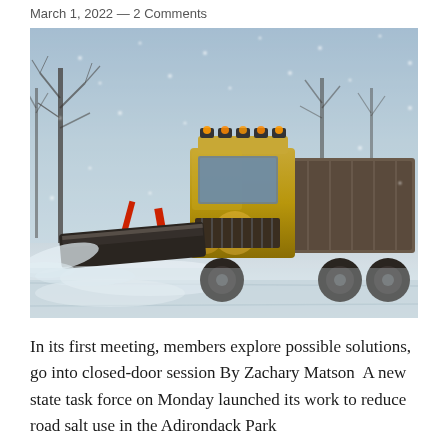March 1, 2022 — 2 Comments
[Figure (photo): A yellow snow plow truck with bright headlights and amber warning lights actively plowing a snowy road during a winter storm. Bare trees are visible in the blurred background. Snow is being thrown off to the sides by the plow blade.]
In its first meeting, members explore possible solutions, go into closed-door session By Zachary Matson  A new state task force on Monday launched its work to reduce road salt use in the Adirondack Park